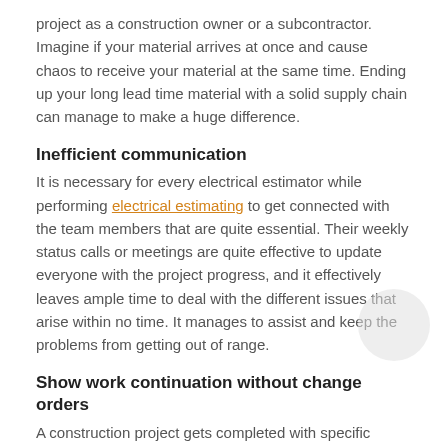project as a construction owner or a subcontractor. Imagine if your material arrives at once and cause chaos to receive your material at the same time. Ending up your long lead time material with a solid supply chain can manage to make a huge difference.
Inefficient communication
It is necessary for every electrical estimator while performing electrical estimating to get connected with the team members that are quite essential. Their weekly status calls or meetings are quite effective to update everyone with the project progress, and it effectively leaves ample time to deal with the different issues that arise within no time. It manages to assist and keep the problems from getting out of range.
Show work continuation without change orders
A construction project gets completed with specific